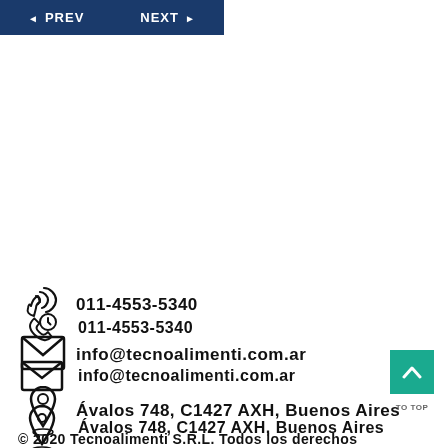[Figure (screenshot): Navigation bar with PREV and NEXT buttons in dark blue]
011-4553-5340
info@tecnoalimenti.com.ar
Ávalos 748, C1427 AXH, Buenos Aires
© 2020 Tecnoalimenti S.R.L. Todos los derechos reservados.